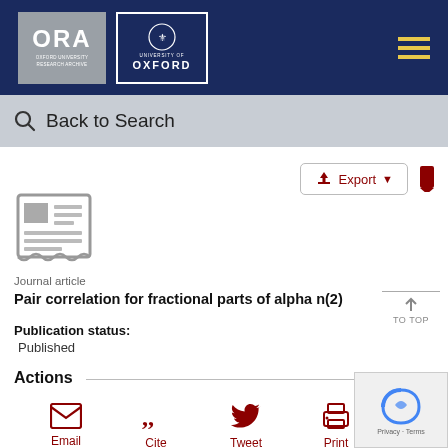[Figure (logo): Oxford University Research Archive (ORA) logo and University of Oxford crest on dark navy header bar]
Back to Search
[Figure (illustration): Journal article document icon (grey newspaper/article illustration)]
Journal article
Pair correlation for fractional parts of alpha n(2)
Publication status:
Published
Actions
Email
Cite
Tweet
Print